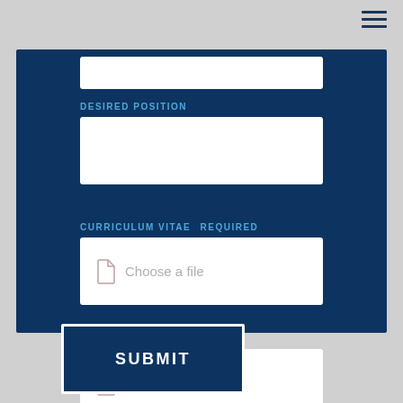[Figure (other): Hamburger menu icon (three horizontal lines) in top right corner]
DESIRED POSITION
CURRICULUM VITAE  REQUIRED
Choose a file
PRESENTATION LETTER
Choose a file
SUBMIT